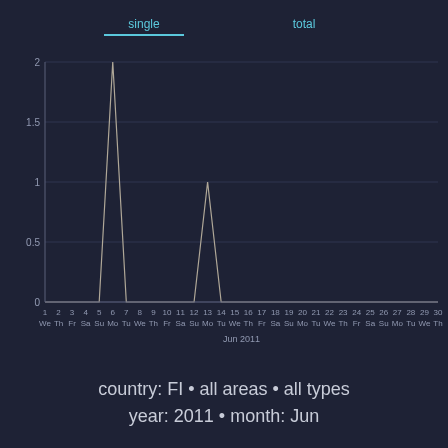[Figure (line-chart): ]
country: FI • all areas • all types
year: 2011 • month: Jun